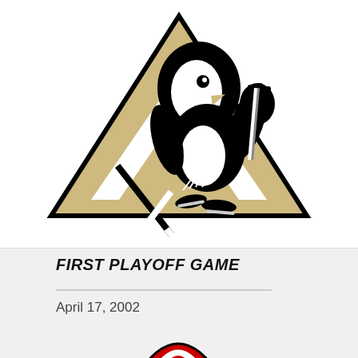[Figure (logo): Pittsburgh Penguins NHL team logo — black and gold penguin holding a hockey stick on a triangular gold background]
FIRST PLAYOFF GAME
April 17, 2002
[Figure (logo): Partial red logo visible at bottom of page (Carolina Hurricanes)]